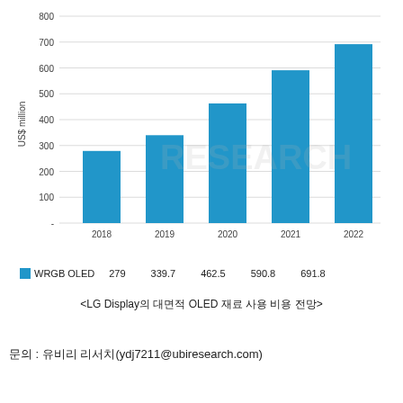[Figure (bar-chart): ]
<LG Display의 대면적 OLED 재료 사용 비용 전망>
문의 : 유비리 리서치(ydj7211@ubiresearch.com)